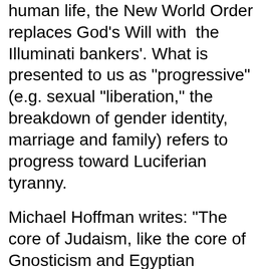human life, the New World Order replaces God's Will with  the Illuminati bankers'. What is presented to us as "progressive" (e.g. sexual "liberation," the breakdown of gender identity, marriage and family) refers to progress toward Luciferian tyranny.
Michael Hoffman writes: "The core of Judaism, like the core of Gnosticism and Egyptian Hermeticism, is magic, the manipulation of the universe, contra God's creation; i.e. against nature. Gershom Scholem, Professor of Kabbalah at Hebrew University wrote that Kaballah embraced a great deal of "black magic, ...a wide realm of demonology and various forms of sorcery that were designed to disrupt the natural